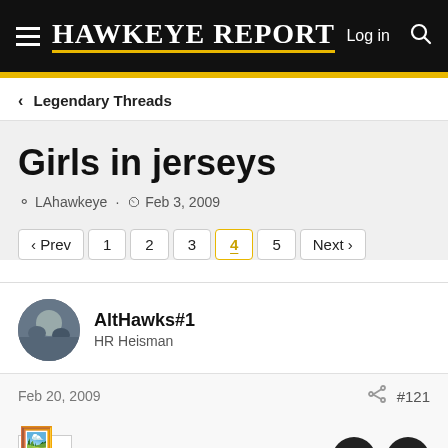Hawkeye Report — Log in
< Legendary Threads
Girls in jerseys
LAhawkeye · Feb 3, 2009
Prev 1 2 3 4 5 Next
AltHawks#1
HR Heisman
Feb 20, 2009  #121